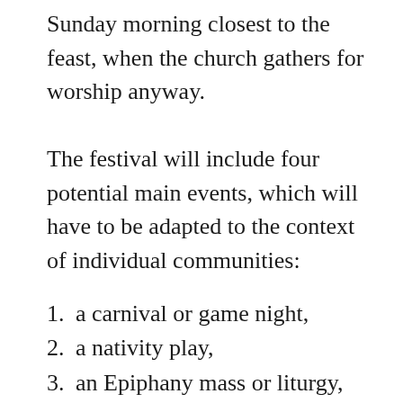Sunday morning closest to the feast, when the church gathers for worship anyway.
The festival will include four potential main events, which will have to be adapted to the context of individual communities:
a carnival or game night,
a nativity play,
an Epiphany mass or liturgy,
and a bonfire where people can come to burn their Christmas tree